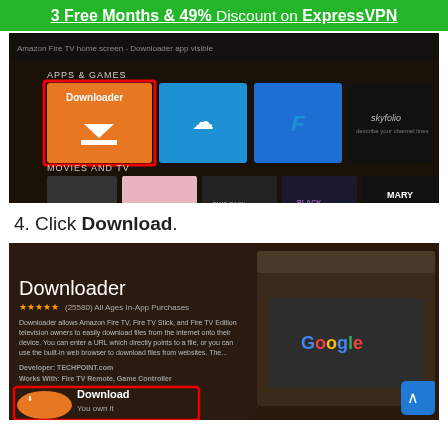3 Free Months & 49% Discount on ExpressVPN
[Figure (screenshot): Amazon Fire TV home screen showing Apps & Games section with Downloader app highlighted in red border, Movies and TV section, and Search in Apps section]
4. Click Download.
[Figure (screenshot): Amazon Fire TV Downloader app page showing app icon, rating 4.5 stars (25580), All Ages, In-App Purchases, description text, Developer: TECHPOINT.com, Works With: Fire TV Remote, Game Controller, and a Download button at bottom. Right side shows Google browser interface.]